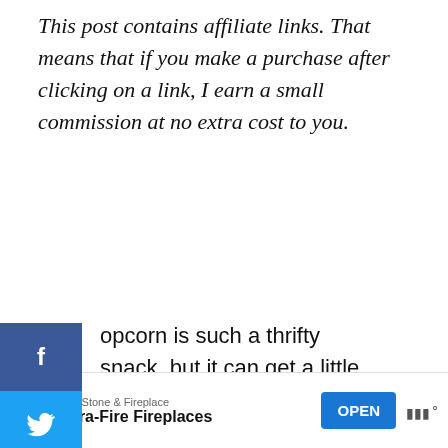This post contains affiliate links. That means that if you make a purchase after clicking on a link, I earn a small commission at no extra cost to you.
Popcorn is such a thrifty snack, but it can get a little boring. I've always loved kettle corn, but I didn't know there were so many varieties of spicy popcorn recipes to try.
[Figure (other): Social media sidebar with Facebook, Twitter, Pinterest, and email share buttons]
[Figure (other): Heart save button showing 3.1K saves and a share button]
[Figure (other): Advertisement banner for LT Rush Stone & Fireplace - Quadra-Fire Fireplaces with OPEN button]